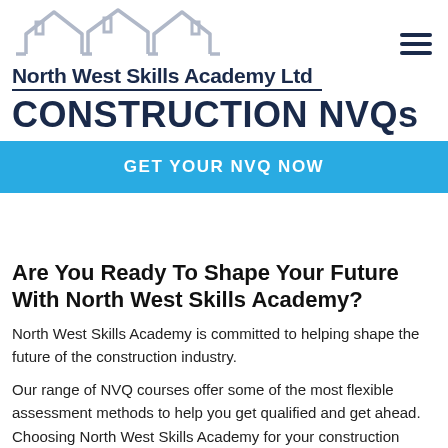[Figure (logo): North West Skills Academy Ltd logo with rooftop/house silhouette graphic above the text, and a horizontal underline below the company name.]
CONSTRUCTION NVQs
GET YOUR NVQ NOW
Are You Ready To Shape Your Future With North West Skills Academy?
North West Skills Academy is committed to helping shape the future of the construction industry.
Our range of NVQ courses offer some of the most flexible assessment methods to help you get qualified and get ahead. Choosing North West Skills Academy for your construction NVQ also means that you will have